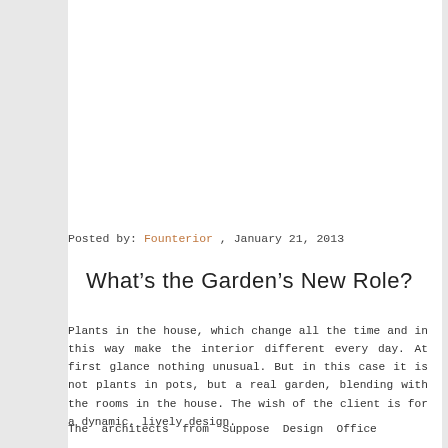Posted by: Founterior , January 21, 2013
What’s the Garden’s New Role?
Plants in the house, which change all the time and in this way make the interior different every day. At first glance nothing unusual. But in this case it is not plants in pots, but a real garden, blending with the rooms in the house. The wish of the client is for a dynamic, lively design.
The architects from Suppose Design Office